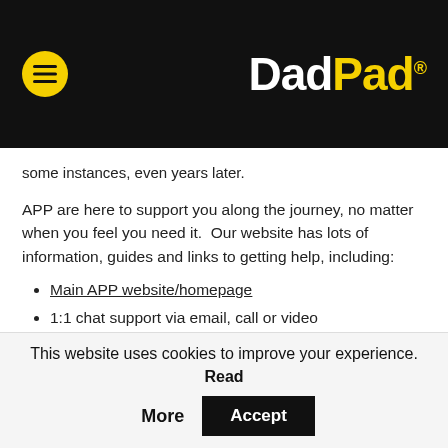DadPad®
some instances, even years later.
APP are here to support you along the journey, no matter when you feel you need it.  Our website has lots of information, guides and links to getting help, including:
Main APP website/homepage
1:1 chat support via email, call or video
Resources for dads and partners
PP Insider Guides, which includes a Guide for
This website uses cookies to improve your experience. Read More   Accept